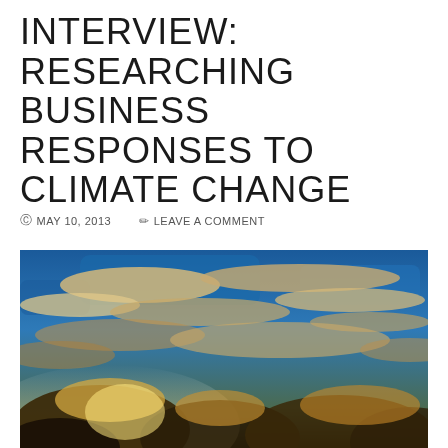INTERVIEW: RESEARCHING BUSINESS RESPONSES TO CLIMATE CHANGE
MAY 10, 2013   LEAVE A COMMENT
[Figure (photo): Dramatic sky photograph showing large cumulus and altocumulus clouds illuminated by sunlight against a deep blue sky, with dark storm clouds building at the bottom of the image. Heavy contrast and saturation giving a moody, dramatic appearance.]